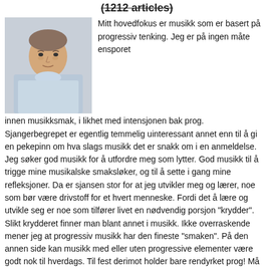(1212 articles)
[Figure (photo): Portrait photo of a man in a light blue shirt, photographed indoors]
Mitt hovedfokus er musikk som er basert på progressiv tenking. Jeg er på ingen måte ensporet innen musikksmak, i likhet med intensjonen bak prog. Sjangerbegrepet er egentlig temmelig uinteressant annet enn til å gi en pekepinn om hva slags musikk det er snakk om i en anmeldelse. Jeg søker god musikk for å utfordre meg som lytter. God musikk til å trigge mine musikalske smaksløker, og til å sette i gang mine refleksjoner. Da er sjansen stor for at jeg utvikler meg og lærer, noe som bør være drivstoff for et hvert menneske. Fordi det å lære og utvikle seg er noe som tilfører livet en nødvendig porsjon "krydder". Slikt krydderet finner man blant annet i musikk. Ikke overraskende mener jeg at progressiv musikk har den fineste "smaken". På den annen side kan musikk med eller uten progressive elementer være godt nok til hverdags. Til fest derimot holder bare rendyrket prog! Må jo også få med at jeg rimelig kritisk, og jeg mener at det lages mye prog som ari beste fall uinteressant, og faktisk